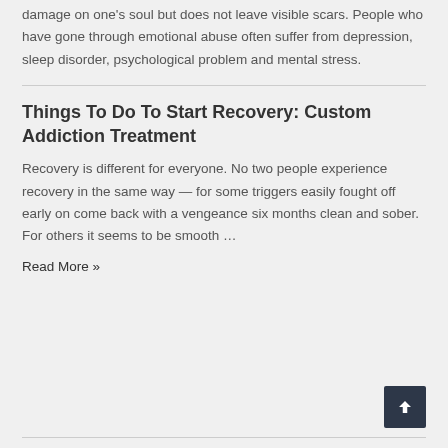damage on one's soul but does not leave visible scars. People who have gone through emotional abuse often suffer from depression, sleep disorder, psychological problem and mental stress.
Things To Do To Start Recovery: Custom Addiction Treatment
Recovery is different for everyone. No two people experience recovery in the same way — for some triggers easily fought off early on come back with a vengeance six months clean and sober. For others it seems to be smooth …
Read More »